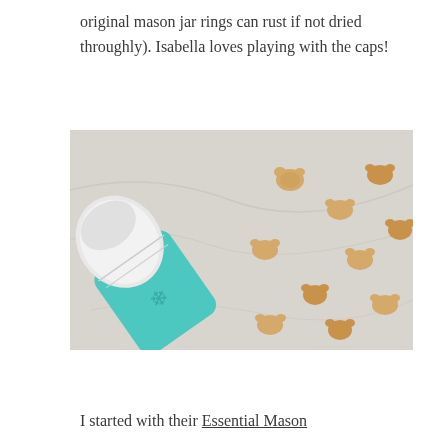original mason jar rings can rust if not dried throughly). Isabella loves playing with the caps!
[Figure (photo): A teal/turquoise silicone mason jar with a white lid tipped on its side on a marble surface, with small animal-shaped crackers spilling out around it.]
I started with their Essential Mason